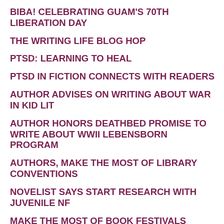BIBA! CELEBRATING GUAM'S 70TH LIBERATION DAY
THE WRITING LIFE BLOG HOP
PTSD: LEARNING TO HEAL
PTSD IN FICTION CONNECTS WITH READERS
AUTHOR ADVISES ON WRITING ABOUT WAR IN KID LIT
AUTHOR HONORS DEATHBED PROMISE TO WRITE ABOUT WWII LEBENSBORN PROGRAM
AUTHORS, MAKE THE MOST OF LIBRARY CONVENTIONS
NOVELIST SAYS START RESEARCH WITH JUVENILE NF
MAKE THE MOST OF BOOK FESTIVALS
WWII PACIFIC RESEARCH ON U.S. NURSES IN PHILIPPINES